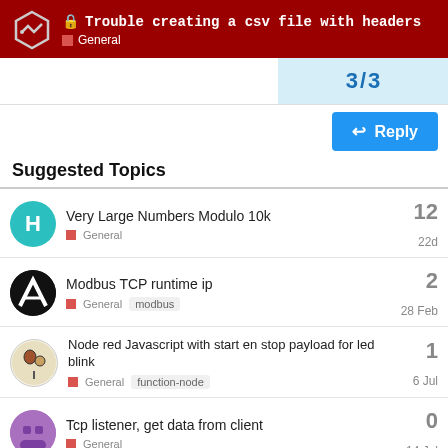🔒 Trouble creating a csv file with headers — General
3 / 3
Reply
Suggested Topics
Very Large Numbers Modulo 10k — General — 12 replies — 22d
Modbus TCP runtime ip — General, modbus — 2 replies — 28 Feb
Node red Javascript with start en stop payload for led blink — General, function-node — 1 reply — 6 Jul
Tcp listener, get data from client — General — 0 replies — 14 Jul